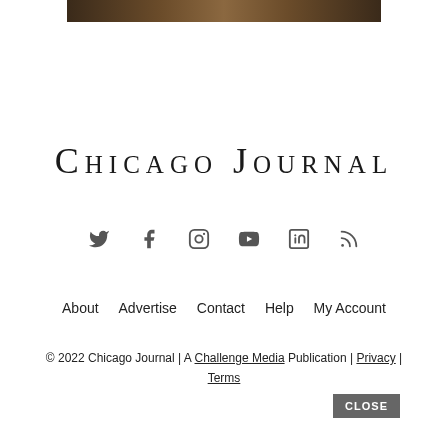[Figure (photo): Top banner image showing people with food items, dark/warm tones]
Chicago Journal
[Figure (infographic): Social media icons: Twitter, Facebook, Instagram, YouTube, LinkedIn, RSS]
About | Advertise | Contact | Help | My Account
© 2022 Chicago Journal | A Challenge Media Publication | Privacy | Terms
CLOSE